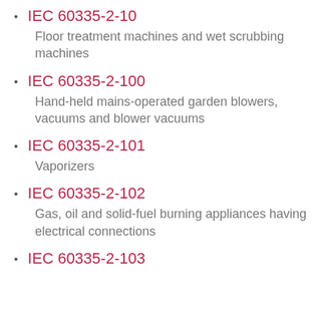IEC 60335-2-10
Floor treatment machines and wet scrubbing machines
IEC 60335-2-100
Hand-held mains-operated garden blowers, vacuums and blower vacuums
IEC 60335-2-101
Vaporizers
IEC 60335-2-102
Gas, oil and solid-fuel burning appliances having electrical connections
IEC 60335-2-103